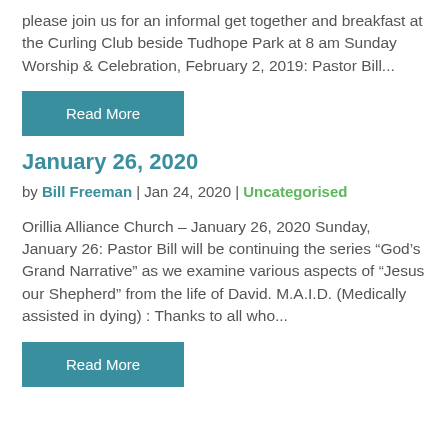please join us for an informal get together and breakfast at the Curling Club beside Tudhope Park at 8 am Sunday Worship & Celebration, February 2, 2019:  Pastor Bill...
Read More
January 26, 2020
by Bill Freeman | Jan 24, 2020 | Uncategorised
Orillia Alliance Church – January 26, 2020 Sunday, January 26:  Pastor Bill will be continuing the series “God’s Grand Narrative” as we examine various aspects of “Jesus our Shepherd” from the life of David. M.A.I.D. (Medically assisted in dying) : Thanks to all who...
Read More